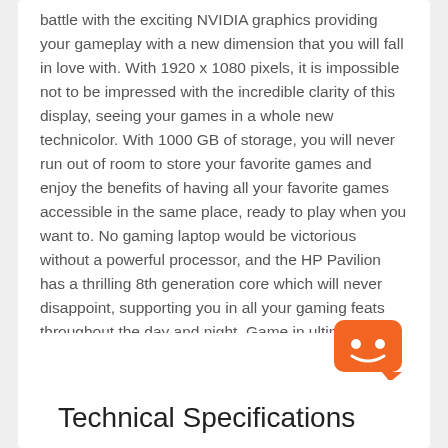battle with the exciting NVIDIA graphics providing your gameplay with a new dimension that you will fall in love with. With 1920 x 1080 pixels, it is impossible not to be impressed with the incredible clarity of this display, seeing your games in a whole new technicolor. With 1000 GB of storage, you will never run out of room to store your favorite games and enjoy the benefits of having all your favorite games accessible in the same place, ready to play when you want to. No gaming laptop would be victorious without a powerful processor, and the HP Pavilion has a thrilling 8th generation core which will never disappoint, supporting you in all your gaming feats throughout the day and night. Game in ultimate style.
[Figure (illustration): Orange rounded square chat/bot icon with a smiley face]
Technical Specifications